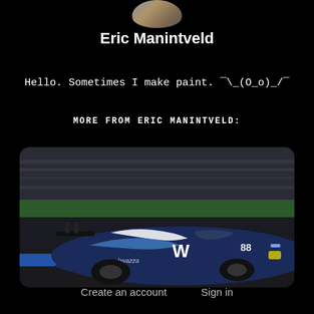[Figure (photo): Partial profile photo of Eric Manintveld at the top of the page]
Eric Manintveld
Hello. Sometimes I make paint. ¯\_(O_o)_/¯
MORE FROM ERIC MANINTVELD:
[Figure (photo): A racing GT car with blue and white livery featuring a W logo and number 88, on a race track at night with blurred background]
Create an account   Sign in